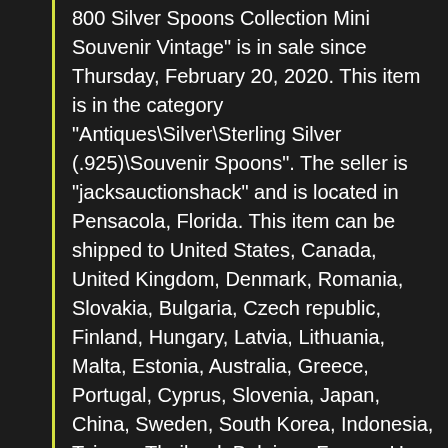800 Silver Spoons Collection Mini Souvenir Vintage" is in sale since Thursday, February 20, 2020. This item is in the category "Antiques\Silver\Sterling Silver (.925)\Souvenir Spoons". The seller is "jacksauctionshack" and is located in Pensacola, Florida. This item can be shipped to United States, Canada, United Kingdom, Denmark, Romania, Slovakia, Bulgaria, Czech republic, Finland, Hungary, Latvia, Lithuania, Malta, Estonia, Australia, Greece, Portugal, Cyprus, Slovenia, Japan, China, Sweden, South Korea, Indonesia, Taiwan, Thailand, Belgium, France, Hong Kong, Ireland, Netherlands, Poland, Spain, Italy,